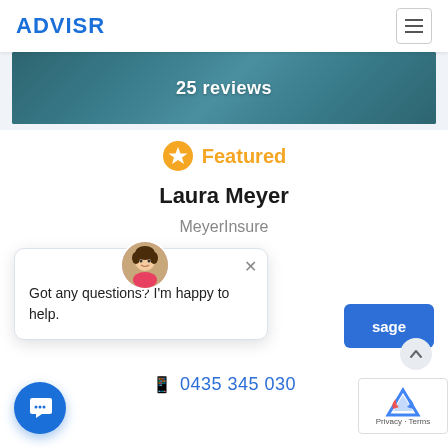ADVISR
[Figure (screenshot): Dark teal banner with text '25 reviews']
Featured
Laura Meyer
MeyerInsure
[Figure (photo): Chat popup with avatar of a female cartoon character. Message: Got any questions? I'm happy to help. Close X button visible. Partially visible blue 'sage' button.]
0435 345 030